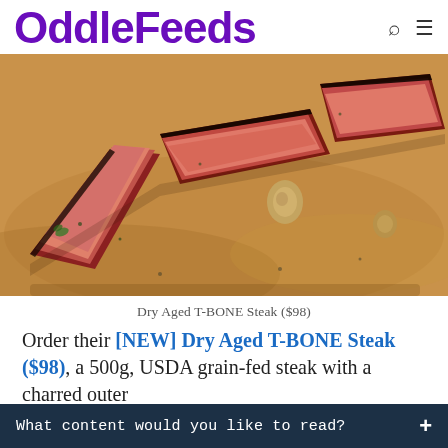OddleFeeds
[Figure (photo): Sliced dry-aged T-bone steak on a wooden cutting board, showing charred outer crust and pink interior]
Dry Aged T-BONE Steak ($98)
Order their [NEW] Dry Aged T-BONE Steak ($98), a 500g, USDA grain-fed steak with a charred outer
What content would you like to read?